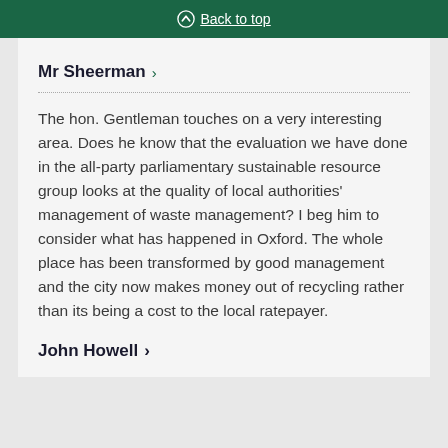Back to top
Mr Sheerman >
The hon. Gentleman touches on a very interesting area. Does he know that the evaluation we have done in the all-party parliamentary sustainable resource group looks at the quality of local authorities' management of waste management? I beg him to consider what has happened in Oxford. The whole place has been transformed by good management and the city now makes money out of recycling rather than its being a cost to the local ratepayer.
John Howell >